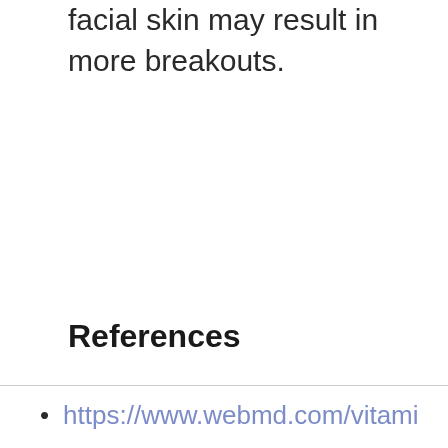facial skin may result in more breakouts.
References
https://www.webmd.com/vitami